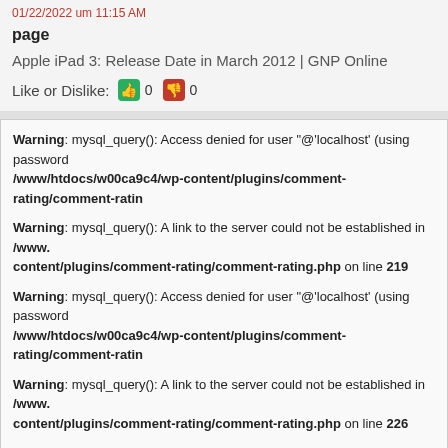01/22/2022 um 11:15 AM
page
Apple iPad 3: Release Date in March 2012 | GNP Online
Like or Dislike: 0 0
Warning: mysql_query(): Access denied for user "@'localhost' (using password /www/htdocs/w00ca9c4/wp-content/plugins/comment-rating/comment-ratin
Warning: mysql_query(): A link to the server could not be established in /www. content/plugins/comment-rating/comment-rating.php on line 219
Warning: mysql_query(): Access denied for user "@'localhost' (using password /www/htdocs/w00ca9c4/wp-content/plugins/comment-rating/comment-ratin
Warning: mysql_query(): A link to the server could not be established in /www. content/plugins/comment-rating/comment-rating.php on line 226
class="trackback odd alt thread-odd thread-alt depth-1" id="comment-117772">
what is liverwurst made from sagt:
01/22/2022 um 3:32 PM